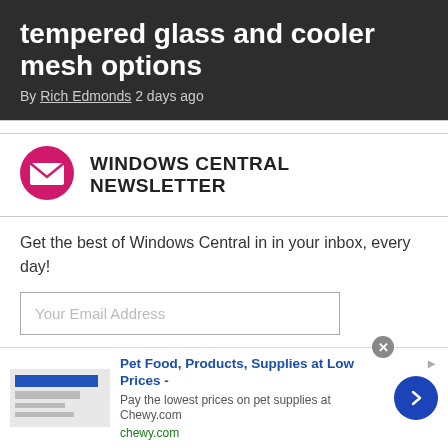tempered glass and cooler mesh options
By Rich Edmonds 2 days ago
WINDOWS CENTRAL NEWSLETTER
Get the best of Windows Central in in your inbox, every day!
Your Email Address
Contact me with news and offers from other Future brands
Receive email from us on behalf of our trusted partners or sponsors
Pet Food, Products, Supplies at Low Prices - Pay the lowest prices on pet supplies at Chewy.com chewy.com